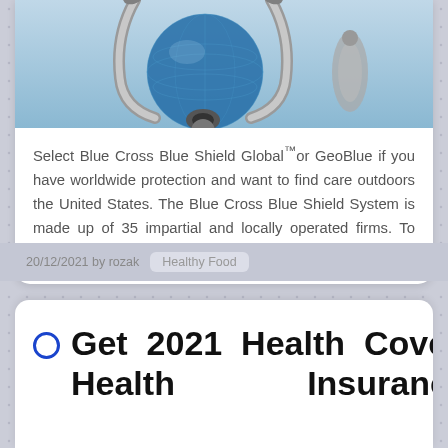[Figure (photo): Photo of a glass globe and stethoscope on a blue background]
Select Blue Cross Blue Shield Global™or GeoBlue if you have worldwide protection and want to find care outdoors the United States. The Blue Cross Blue Shield System is made up of 35 impartial and locally operated firms. To access your …
20/12/2021 by rozak   Healthy Food
Get 2021 Health Coverage Health Insurance